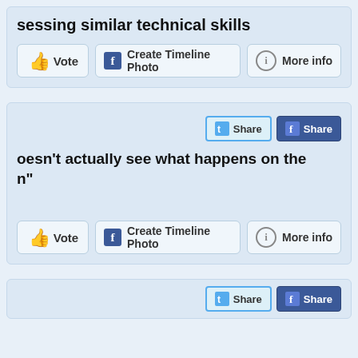ssessing similar technical skills
[Figure (screenshot): Vote button, Create Timeline Photo button, More info button row]
doesn't actually see what happens on the n"
[Figure (screenshot): Twitter Share button and Facebook Share button]
[Figure (screenshot): Vote button, Create Timeline Photo button, More info button row]
[Figure (screenshot): Twitter Share and Facebook Share buttons at bottom]